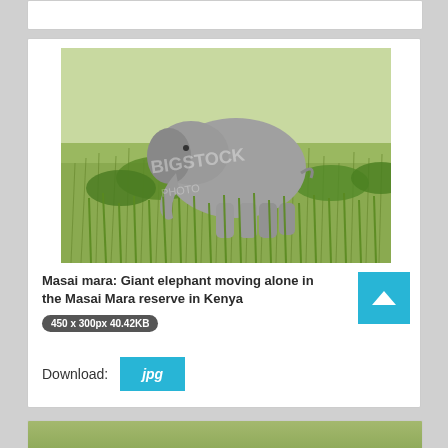[Figure (photo): Photo of a baby/young elephant walking through tall green grass in the Masai Mara reserve, Kenya. Watermark text visible in center of image.]
Masai mara: Giant elephant moving alone in the Masai Mara reserve in Kenya
450 x 300px 40.42KB
Download: jpg